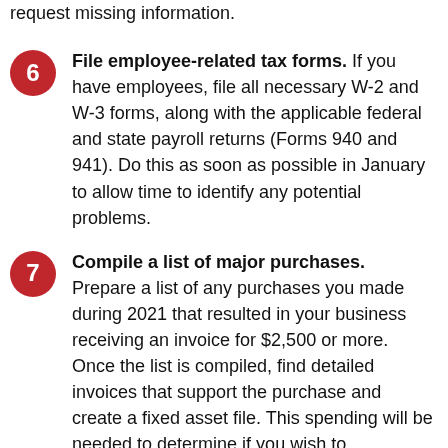request missing information.
File employee-related tax forms. If you have employees, file all necessary W-2 and W-3 forms, along with the applicable federal and state payroll returns (Forms 940 and 941). Do this as soon as possible in January to allow time to identify any potential problems.
Compile a list of major purchases. Prepare a list of any purchases you made during 2021 that resulted in your business receiving an invoice for $2,500 or more. Once the list is compiled, find detailed invoices that support the purchase and create a fixed asset file. This spending will be needed to determine if you wish to depreciate the purchase over time, take